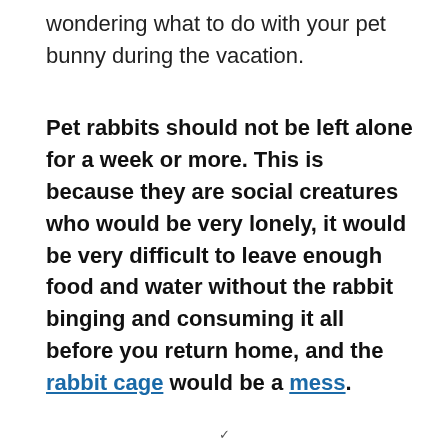wondering what to do with your pet bunny during the vacation.
Pet rabbits should not be left alone for a week or more. This is because they are social creatures who would be very lonely, it would be very difficult to leave enough food and water without the rabbit binging and consuming it all before you return home, and the rabbit cage would be a mess.